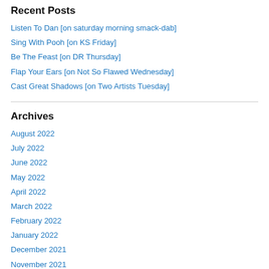Recent Posts
Listen To Dan [on saturday morning smack-dab]
Sing With Pooh [on KS Friday]
Be The Feast [on DR Thursday]
Flap Your Ears [on Not So Flawed Wednesday]
Cast Great Shadows [on Two Artists Tuesday]
Archives
August 2022
July 2022
June 2022
May 2022
April 2022
March 2022
February 2022
January 2022
December 2021
November 2021